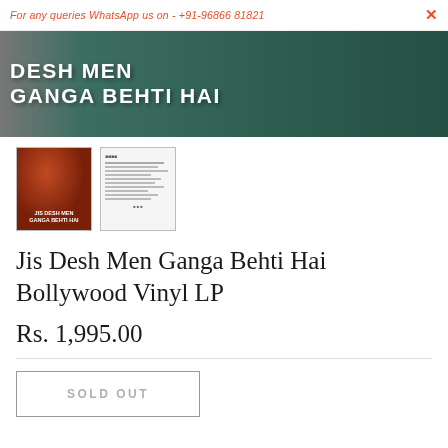For any queries WhatsApp us on - +91-96866 81821
[Figure (photo): Main album cover banner showing 'DESH MEN GANGA BEHTI HAI' text in large letters on a dark teal/green background]
[Figure (photo): Thumbnail 1: Front cover of Jis Desh Men Ganga Behti Hai album with dancing figures on reddish-brown background]
[Figure (photo): Thumbnail 2: Back cover of the album showing track listing text on white background]
Jis Desh Men Ganga Behti Hai Bollywood Vinyl LP
Rs. 1,995.00
SOLD OUT